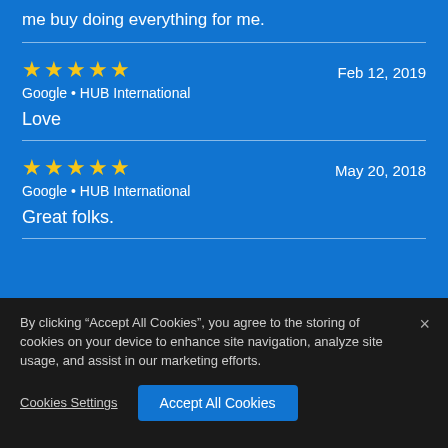me buy doing everything for me.
★★★★★  Feb 12, 2019
Google • HUB International
Love
★★★★★  May 20, 2018
Google • HUB International
Great folks.
By clicking "Accept All Cookies", you agree to the storing of cookies on your device to enhance site navigation, analyze site usage, and assist in our marketing efforts.
Cookies Settings
Accept All Cookies